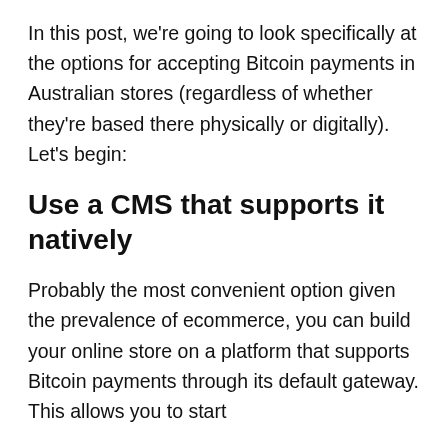In this post, we're going to look specifically at the options for accepting Bitcoin payments in Australian stores (regardless of whether they're based there physically or digitally). Let's begin:
Use a CMS that supports it natively
Probably the most convenient option given the prevalence of ecommerce, you can build your online store on a platform that supports Bitcoin payments through its default gateway. This allows you to start